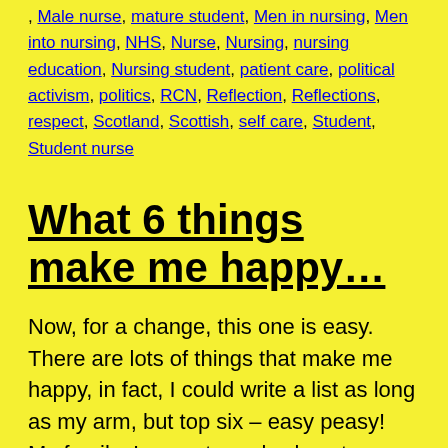, Male nurse, mature student, Men in nursing, Men into nursing, NHS, Nurse, Nursing, nursing education, Nursing student, patient care, political activism, politics, RCN, Reflection, Reflections, respect, Scotland, Scottish, self care, Student, Student nurse
What 6 things make me happy…
Now, for a change, this one is easy. There are lots of things that make me happy, in fact, I could write a list as long as my arm, but top six – easy peasy! My family: I am extremely close to my family; my mum, Carole, dad, Adam, and